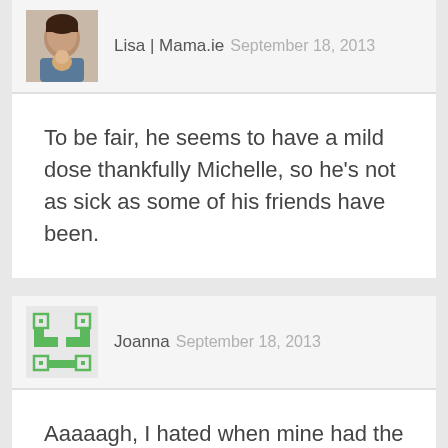[Figure (photo): Small profile photo of Lisa, a woman holding a baby]
Lisa | Mama.ie September 18, 2013
To be fair, he seems to have a mild dose thankfully Michelle, so he's not as sick as some of his friends have been.
[Figure (illustration): Green geometric/pixel avatar for Joanna]
Joanna September 18, 2013
Aaaaagh, I hated when mine had the chicken pox